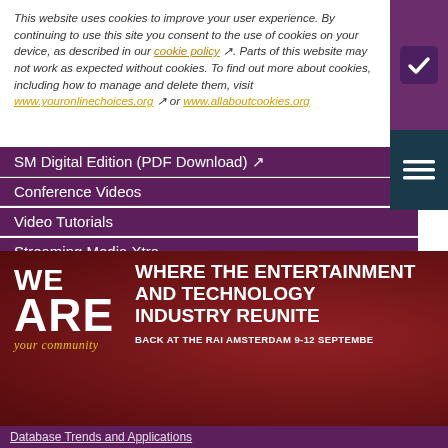This website uses cookies to improve your user experience. By continuing to use this site you consent to the use of cookies on your device, as described in our cookie policy. Parts of this website may not work as expected without cookies. To find out more about cookies, including how to manage and delete them, visit www.youronlinechoices.org or www.allaboutcookies.org
SM Digital Edition (PDF Download)
Conference Videos
Video Tutorials
Streaming Media Xtra
Streaming Media Topic Centers
Streaming Media Industry Verticals
Streaming Media Guides
European Innovation Awards
Sourcebook
Online Video News
Spotlights
About StreamingMedia.com
Contact Us
[Figure (infographic): WE ARE your community banner — WHERE THE ENTERTAINMENT AND TECHNOLOGY INDUSTRY REUNITE BACK AT THE RAI AMSTERDAM 9-12 SEPTEMBER]
Database Trends and Applications